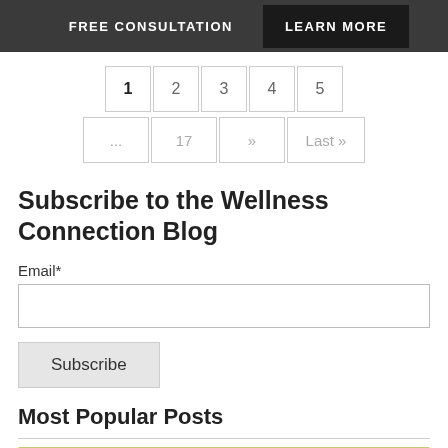FREE CONSULTATION   LEARN MORE
1  2  3  4  5  ...  17  »  Last »
Subscribe to the Wellness Connection Blog
Email*
Subscribe
Most Popular Posts
[Figure (photo): Outdoor nature scene with tall grasses and a person wearing a teal helmet, partially visible at bottom]